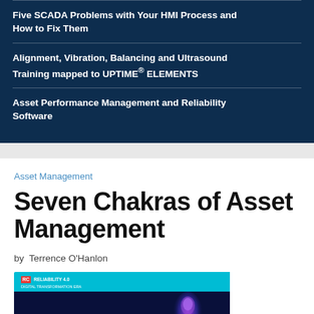Five SCADA Problems with Your HMI Process and How to Fix Them
Alignment, Vibration, Balancing and Ultrasound Training mapped to UPTIME® ELEMENTS
Asset Performance Management and Reliability Software
Asset Management
Seven Chakras of Asset Management
by Terrence O'Hanlon
[Figure (screenshot): Thumbnail image for article showing '7 Chakras' presentation slide with teal header bar, dark background, glowing purple/blue humanoid figure, and cyan text '7 Chakras' at the bottom. Reliability 4.0 logo badge visible in header.]